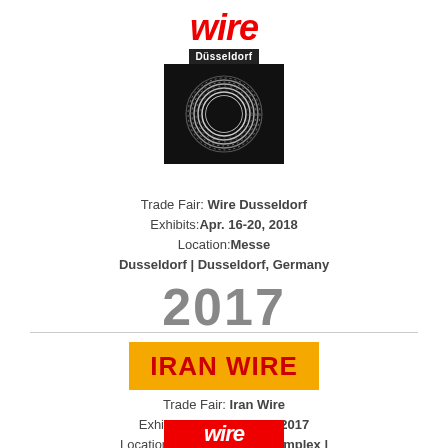[Figure (logo): Wire Dusseldorf trade fair logo: red italic 'wire' text above a black badge reading 'Düsseldorf', with a black square containing a circular coiled wire graphic]
Trade Fair: Wire Dusseldorf
Exhibits: Apr. 16-20, 2018
Location: Messe Dusseldorf | Dusseldorf, Germany
2017
[Figure (logo): Iran Wire trade fair logo: bold red 'iRAN WiRE' text on an orange/yellow background rectangle]
Trade Fair: Iran Wire
Exhibits: Dicember 6-9, 2017
Location: Shahr-e-Aftab Complex | Theran, Iran
[Figure (logo): Wire trade fair logo (partial, bottom-cropped): white italic 'wire' text on red background]